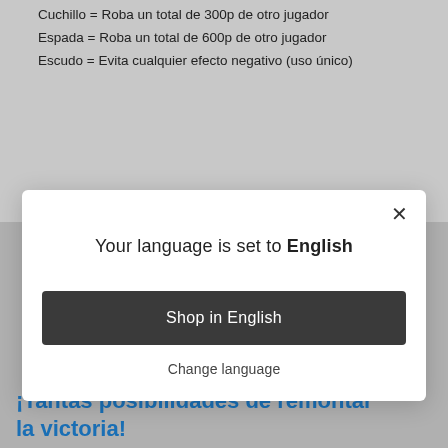Cuchillo = Roba un total de 300p de otro jugador
Espada = Roba un total de 600p de otro jugador
Escudo = Evita cualquier efecto negativo (uso único)
[Figure (screenshot): A modal dialog popup with title 'Your language is set to English', a dark 'Shop in English' button, a 'Change language' link, and an X close button.]
¡Tantas posibilidades de remontar la victoria!